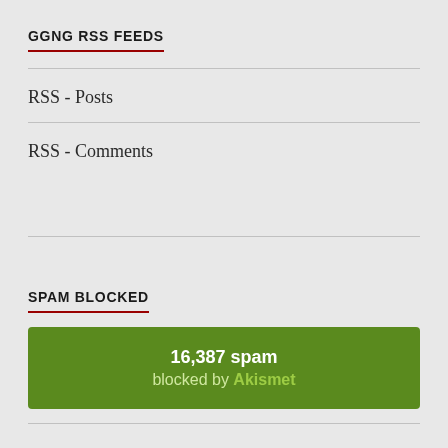GGNG RSS FEEDS
RSS - Posts
RSS - Comments
SPAM BLOCKED
16,387 spam blocked by Akismet
GET THE NEWSLETTER!